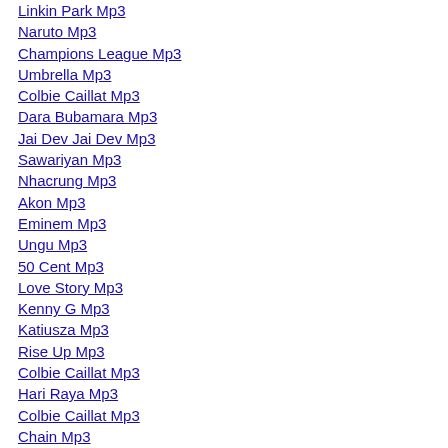Linkin Park Mp3
Naruto Mp3
Champions League Mp3
Umbrella Mp3
Colbie Caillat Mp3
Dara Bubamara Mp3
Jai Dev Jai Dev Mp3
Sawariyan Mp3
Nhacrung Mp3
Akon Mp3
Eminem Mp3
Ungu Mp3
50 Cent Mp3
Love Story Mp3
Kenny G Mp3
Katiusza Mp3
Rise Up Mp3
Colbie Caillat Mp3
Hari Raya Mp3
Colbie Caillat Mp3
Chain Mp3
Just About Enough Mp3
Pokemon Mp3
Love Is Gone Mp3
Disney Mp3